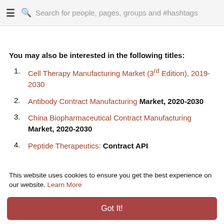≡ 🔍 Search for people, pages, groups and #hashtags
You may also be interested in the following titles:
Cell Therapy Manufacturing Market (3rd Edition), 2019-2030
Antibody Contract Manufacturing Market, 2020-2030
China Biopharmaceutical Contract Manufacturing Market, 2020-2030
Peptide Therapeutics: Contract API
This website uses cookies to ensure you get the best experience on our website. Learn More
Got It!